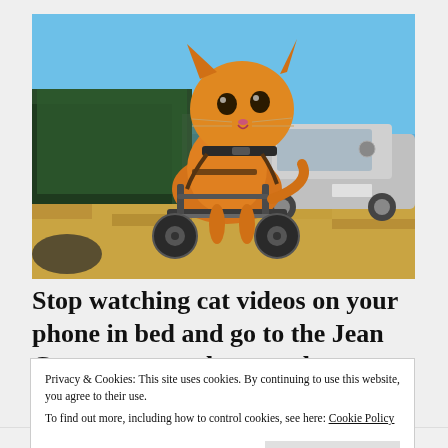[Figure (photo): An orange tabby cat in a wheelchair/cart device, standing outdoors on dry grass with a blue sky, trees, and a silver BMW car visible in the background. The cat is looking directly at the camera.]
Stop watching cat videos on your phone in bed and go to the Jean Cocteau to see them on the
Privacy & Cookies: This site uses cookies. By continuing to use this website, you agree to their use.
To find out more, including how to control cookies, see here: Cookie Policy
Close and accept